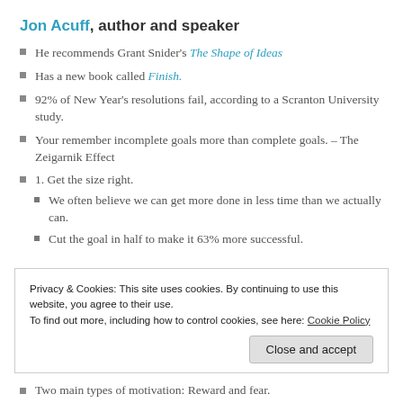Jon Acuff, author and speaker
He recommends Grant Snider's The Shape of Ideas
Has a new book called Finish.
92% of New Year’s resolutions fail, according to a Scranton University study.
Your remember incomplete goals more than complete goals. – The Zeigarnik Effect
1. Get the size right.
We often believe we can get more done in less time than we actually can.
Cut the goal in half to make it 63% more successful.
Privacy & Cookies: This site uses cookies. By continuing to use this website, you agree to their use.
To find out more, including how to control cookies, see here: Cookie Policy
Two main types of motivation: Reward and fear.